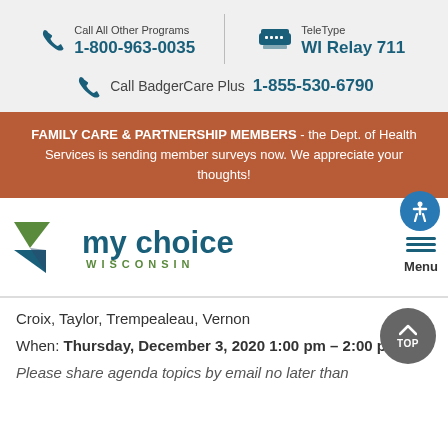Call All Other Programs 1-800-963-0035
TeleType WI Relay 711
Call BadgerCare Plus 1-855-530-6790
FAMILY CARE & PARTNERSHIP MEMBERS - the Dept. of Health Services is sending member surveys now. We appreciate your thoughts!
[Figure (logo): My Choice Wisconsin logo with green and blue leaf/arrow shapes and teal text]
Croix, Taylor, Trempealeau, Vernon
When: Thursday, December 3, 2020 1:00 pm – 2:00 pm
Please share agenda topics by email no later than